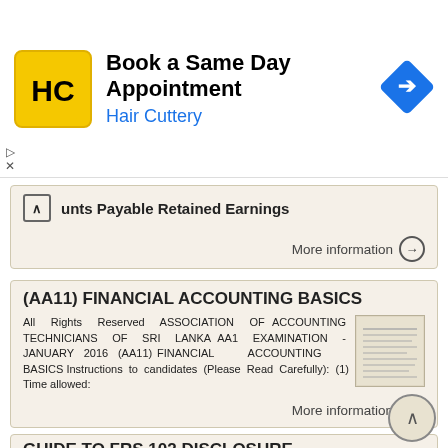[Figure (screenshot): Advertisement banner for Hair Cuttery: Book a Same Day Appointment]
unts Payable Retained Earnings
More information →
(AA11) FINANCIAL ACCOUNTING BASICS
All Rights Reserved ASSOCIATION OF ACCOUNTING TECHNICIANS OF SRI LANKA AA1 EXAMINATION - JANUARY 2016 (AA11) FINANCIAL ACCOUNTING BASICS Instructions to candidates (Please Read Carefully): (1) Time allowed:
More information →
GUIDE TO FRS 102 DISCLOSURE